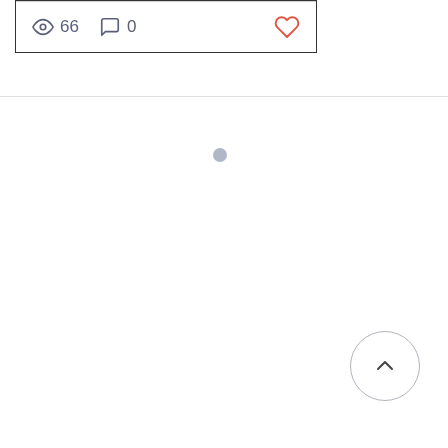[Figure (screenshot): Bottom portion of a social media or blog post card showing a divider line and stats row with: eye icon with '66' views, comment bubble icon with '0' comments, and a red heart/like icon on the right.]
[Figure (other): Small grey loading spinner dot centered on the page]
[Figure (other): Circular scroll-to-top button with an upward chevron arrow, positioned in the bottom right corner]